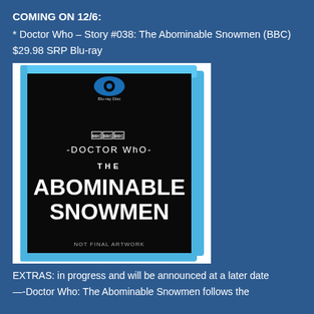COMING ON 12/6:
* Doctor Who – Story #038: The Abominable Snowmen (BBC)
$29.98 SRP Blu-ray
[Figure (photo): Blu-ray cover for Doctor Who – The Abominable Snowmen. Black cover with BBC and Doctor Who logo at top, large white text reading THE ABOMINABLE SNOWMEN, and text at bottom reading NOT FINAL ARTWORK. Blue Blu-ray disc case.]
EXTRAS: in progress and will be announced at a later date
—-Doctor Who: The Abominable Snowmen follows the